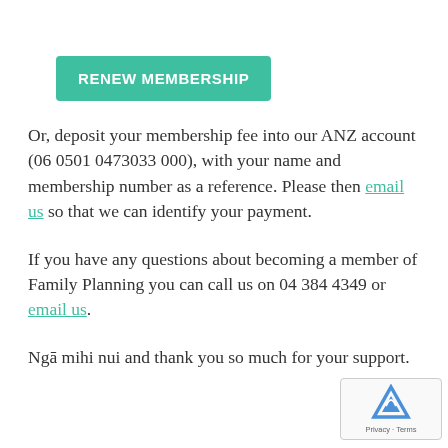RENEW MEMBERSHIP
Or, deposit your membership fee into our ANZ account (06 0501 0473033 000), with your name and membership number as a reference. Please then email us so that we can identify your payment.
If you have any questions about becoming a member of Family Planning you can call us on 04 384 4349 or email us.
Ngā mihi nui and thank you so much for your support.